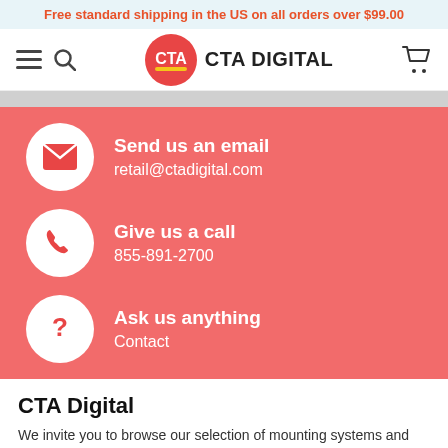Free standard shipping in the US on all orders over $99.00
[Figure (logo): CTA Digital logo with red circle and shopping cart icon in navigation header]
Send us an email
retail@ctadigital.com
Give us a call
855-891-2700
Ask us anything
Contact
CTA Digital
We invite you to browse our selection of mounting systems and